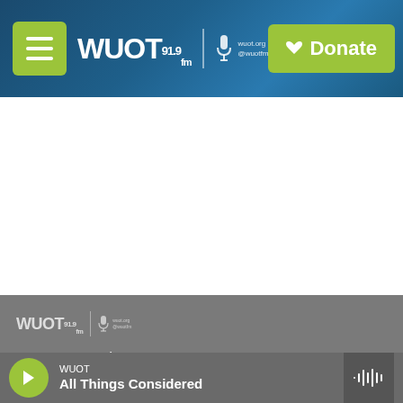[Figure (screenshot): WUOT 91.9 FM radio station website screenshot showing header navigation bar with hamburger menu button, WUOT 91.9 FM logo with microphone icon and wuot.org/@wuotfm text, and a green Donate button with heart icon]
[Figure (logo): WUOT 91.9 FM logo in footer - white/gray version with mic icon]
Stay Connected
[Figure (illustration): Social media icons - Twitter bird icon and Facebook f icon, both in black circles]
© 2022 WUOT
About Us
WUOT
All Things Considered